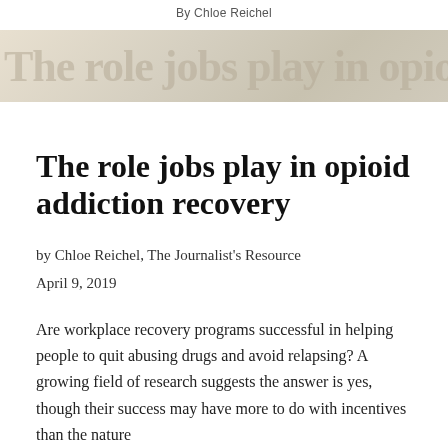By Chloe Reichel
[Figure (illustration): Banner/header illustration with faded text overlay showing article headline or publication name in a tan/beige decorative background]
The role jobs play in opioid addiction recovery
by Chloe Reichel, The Journalist's Resource
April 9, 2019
Are workplace recovery programs successful in helping people to quit abusing drugs and avoid relapsing? A growing field of research suggests the answer is yes, though their success may have more to do with incentives than the nature